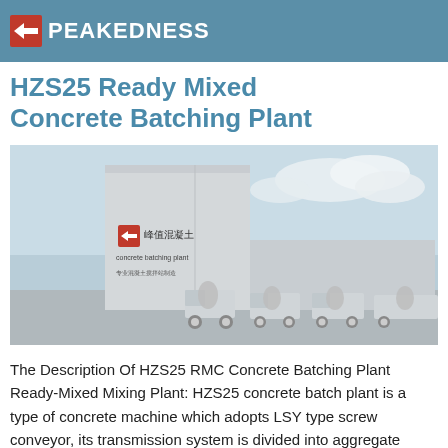PEAKEDNESS
HZS25 Ready Mixed Concrete Batching Plant
[Figure (photo): Exterior photo of a concrete batching plant facility with large white tower structure bearing the Peakedness logo and Chinese text, with concrete mixer trucks parked in front, blue sky with clouds in background.]
The Description Of HZS25 RMC Concrete Batching Plant Ready-Mixed Mixing Plant: HZS25 concrete batch plant is a type of concrete machine which adopts LSY type screw conveyor, its transmission system is divided into aggregate